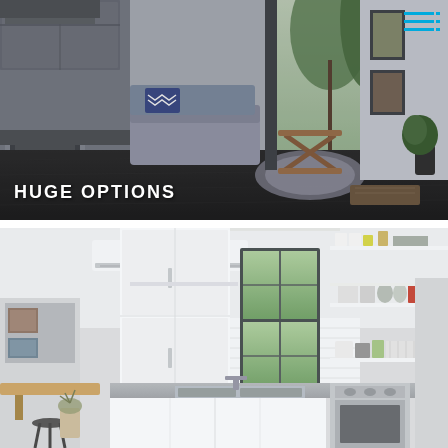[Figure (photo): Interior of a modern tiny home showing kitchen cabinets on the left, a sofa with chevron pillow, a round coffee table, and large glass sliding doors leading to a green outdoor area. Dark hardwood floors. White text 'HUGE OPTIONS' overlaid at bottom left.]
[Figure (photo): Interior of a modern tiny home kitchen with white flat-panel cabinets, open shelving with jars and dishes, a wall-mounted mini-split air conditioner, a double sink, and a stainless steel oven/range. A small fold-down bench and wall-mounted shelf are visible on the left.]